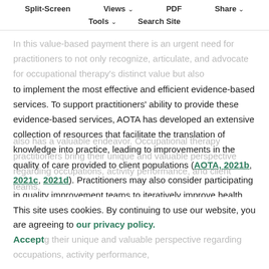Split-Screen | Views | PDF | Share | Tools | Search Site
In this value-based payment there is an urgent need for practitioners to not only recognize, articulate, and advocate for occupational therapy's distinct value but also to implement the most effective and efficient evidence-based services. To support practitioners' ability to provide these evidence-based services, AOTA has developed an extensive collection of resources that facilitate the translation of knowledge into practice, leading to improvements in the quality of care provided to client populations (AOTA, 2021b, 2021c, 2021d). Practitioners may also consider participating in quality improvement teams to iteratively improve health care services, which also has a valuable endeavor. Occupational therapy practitioners bring their unique and valuable perspective regarding occupations, activity performance, and client teams, bringing their unique and valuable perspective regarding occupations, activity performance,
This site uses cookies. By continuing to use our website, you are agreeing to our privacy policy. Accept